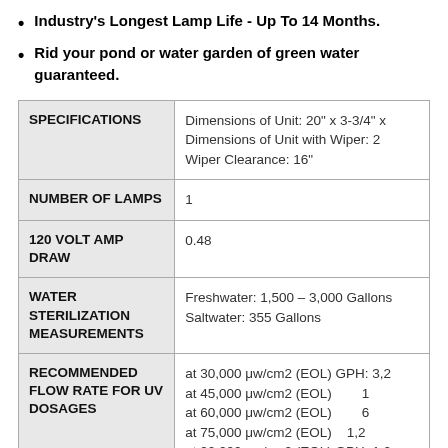Industry's Longest Lamp Life - Up To 14 Months.
Rid your pond or water garden of green water guaranteed.
|  |  |
| --- | --- |
| SPECIFICATIONS | Dimensions of Unit: 20" x 3-3/4" x
Dimensions of Unit with Wiper: 2
Wiper Clearance: 16" |
| NUMBER OF LAMPS | 1 |
| 120 VOLT AMP DRAW | 0.48 |
| WATER STERILIZATION MEASUREMENTS | Freshwater: 1,500 – 3,000 Gallons
Saltwater: 355 Gallons |
| RECOMMENDED FLOW RATE FOR UV DOSAGES | at 30,000 μw/cm2 (EOL) GPH: 3,2
at 45,000 μw/cm2 (EOL) 1
at 60,000 μw/cm2 (EOL) 6
at 75,000 μw/cm2 (EOL) 1,2
at 90,000 μw/cm2 (EOL) GPH: 1,0 |